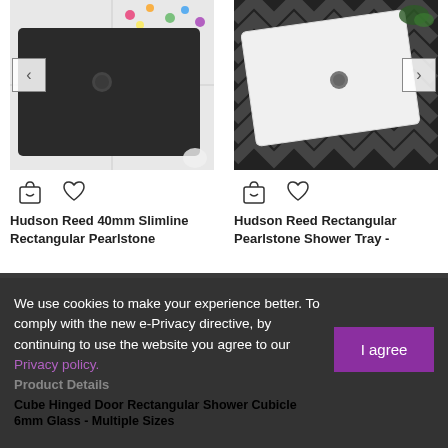[Figure (photo): Dark/black rectangular shower tray on white tiled floor with polka dot wall background. Navigation arrow on left side.]
[Figure (photo): White rectangular shower tray on black and white chevron patterned floor with striped walls. Navigation arrow on right side.]
Hudson Reed 40mm Slimline Rectangular Pearlstone
From £148.99
Hudson Reed Rectangular Pearlstone Shower Tray -
From £129.99
★★★★★
We use cookies to make your experience better. To comply with the new e-Privacy directive, by continuing to use the website you agree to our Privacy policy.
Product Details
Cube Hinged Door Rectangular Shower Cubicle 6mm Glass - Multiple Sizes
I agree